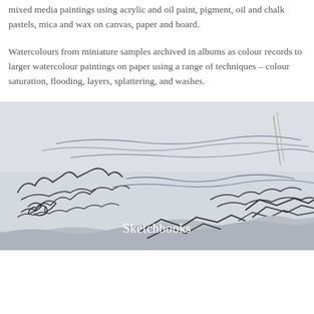mixed media paintings using acrylic and oil paint, pigment, oil and chalk pastels, mica and wax on canvas, paper and board.
Watercolours from miniature samples archived in albums as colour records to larger watercolour paintings on paper using a range of techniques – colour saturation, flooding, layers, splattering, and washes.
[Figure (illustration): A loose pencil sketch of a coastal or landscape scene with rocky outcrops and water, with the word 'Sketchbooks' overlaid in white text at the bottom center.]